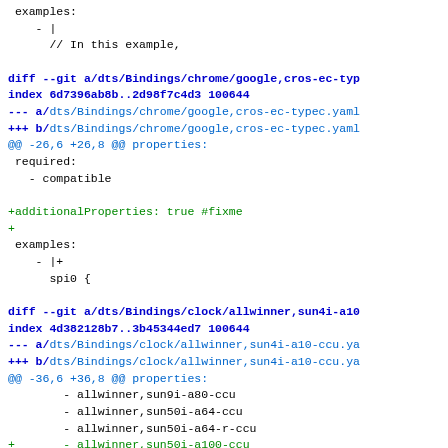examples:
    - |
      // In this example,
diff --git a/dts/Bindings/chrome/google,cros-ec-typ
index 6d7396ab8b..2d98f7c4d3 100644
--- a/dts/Bindings/chrome/google,cros-ec-typec.yaml
+++ b/dts/Bindings/chrome/google,cros-ec-typec.yaml
@@ -26,6 +26,8 @@ properties:
 required:
   - compatible

+additionalProperties: true #fixme
+
 examples:
     - |+
       spi0 {

diff --git a/dts/Bindings/clock/allwinner,sun4i-a10
index 4d382128b7..3b45344ed7 100644
--- a/dts/Bindings/clock/allwinner,sun4i-a10-ccu.ya
+++ b/dts/Bindings/clock/allwinner,sun4i-a10-ccu.ya
@@ -36,6 +36,8 @@ properties:
         - allwinner,sun9i-a80-ccu
         - allwinner,sun50i-a64-ccu
         - allwinner,sun50i-a64-r-ccu
+        - allwinner,sun50i-a100-ccu
+        - allwinner,sun50i-a100-r-ccu
         - allwinner,sun50i-h5-ccu
         - allwinner,sun50i-h6-ccu